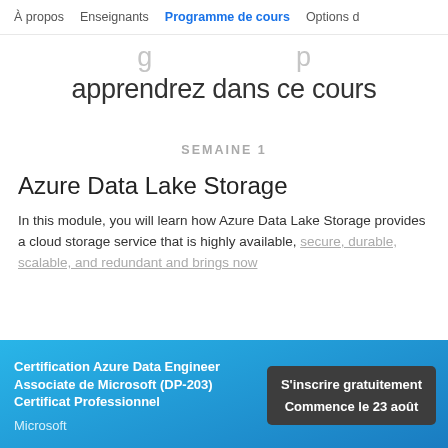À propos | Enseignants | Programme de cours | Options d
apprendrez dans ce cours
SEMAINE 1
Azure Data Lake Storage
In this module, you will learn how Azure Data Lake Storage provides a cloud storage service that is highly available, secure, durable, scalable, and redundant and brings now
Certification Azure Data Engineer Associate de Microsoft (DP-203) Certificat Professionnel
Microsoft
S'inscrire gratuitement
Commence le 23 août